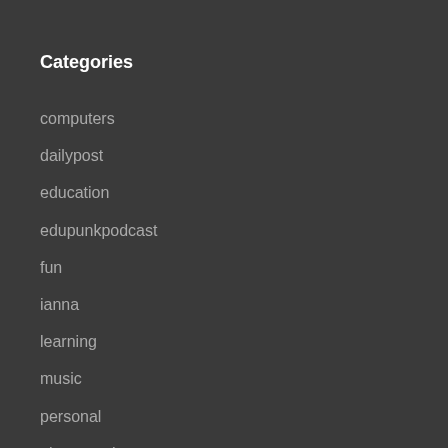Categories
computers
dailypost
education
edupunkpodcast
fun
ianna
learning
music
personal
photography
podcast